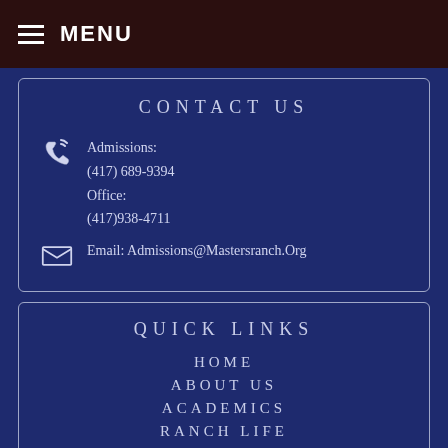MENU
CONTACT US
Admissions:
(417) 689-9394
Office:
(417)938-4711
Email: Admissions@Mastersranch.Org
QUICK LINKS
HOME
ABOUT US
ACADEMICS
RANCH LIFE